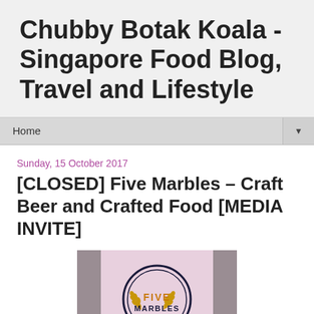Chubby Botak Koala - Singapore Food Blog, Travel and Lifestyle
Home
Sunday, 15 October 2017
[CLOSED] Five Marbles – Craft Beer and Crafted Food [MEDIA INVITE]
[Figure (photo): Photo of Five Marbles restaurant signage/logo on a pink board, showing circular badge with wheat motifs and the text FIVE MARBLES]